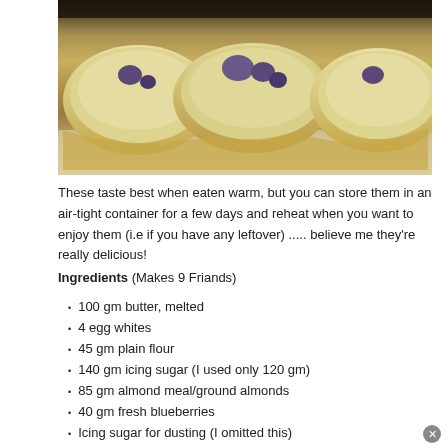[Figure (photo): Close-up photo of blueberry friands (small almond cakes) cut open to show interior with blueberries]
These taste best when eaten warm, but you can store them in an air-tight container for a few days and reheat when you want to enjoy them (i.e if you have any leftover) ..... believe me they're really delicious!
Ingredients   (Makes  9 Friands)
100 gm butter, melted
4 egg whites
45 gm plain flour
140 gm icing sugar  (I used only 120 gm)
85 gm almond meal/ground almonds
40 gm fresh blueberries
Icing sugar for dusting  (I omitted this)
Method
1. Melt the butter and set aside.